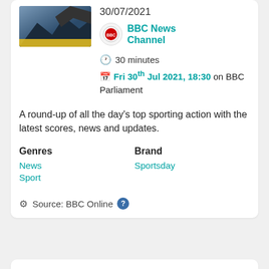30/07/2021
BBC News Channel
30 minutes
Fri 30th Jul 2021, 18:30 on BBC Parliament
A round-up of all the day's top sporting action with the latest scores, news and updates.
Genres
Brand
News
Sport
Sportsday
Source: BBC Online